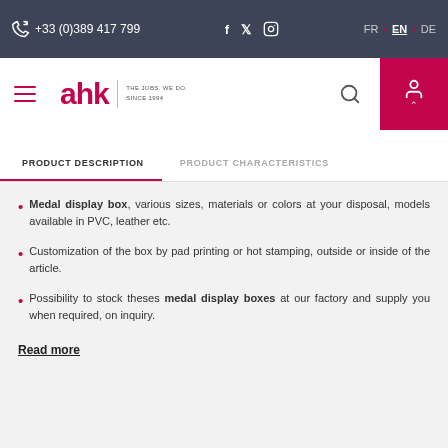+33 (0)389 417 799  f  t  instagram  FR • EN • DE
[Figure (logo): AHK logo with tagline THE JOBS. WE DO. SINCE 1994]
PRODUCT DESCRIPTION | PRODUCT CHARACTERISTICS
Medal display box, various sizes, materials or colors at your disposal, models available in PVC, leather etc.
Customization of the box by pad printing or hot stamping, outside or inside of the article.
Possibility to stock theses medal display boxes at our factory and supply you when required, on inquiry.
Read more